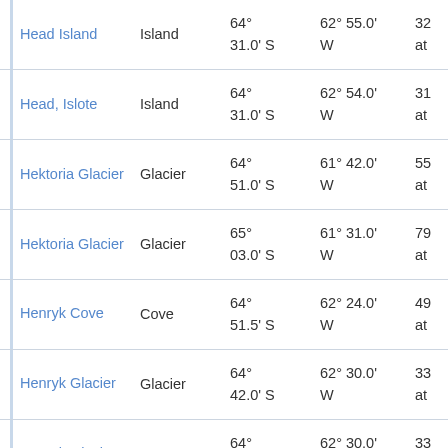| Name | Type | Latitude | Longitude | ... |
| --- | --- | --- | --- | --- |
| Head Island | Island | 64° 31.0' S | 62° 55.0' W | 32 at |
| Head, Islote | Island | 64° 31.0' S | 62° 54.0' W | 31 at |
| Hektoria Glacier | Glacier | 64° 51.0' S | 61° 42.0' W | 55 at |
| Hektoria Glacier | Glacier | 65° 03.0' S | 61° 31.0' W | 79 at |
| Henryk Cove | Cove | 64° 51.5' S | 62° 24.0' W | 49 at |
| Henryk Glacier | Glacier | 64° 42.0' S | 62° 30.0' W | 33 at |
| Henryk Glacier | Glacier | 64° 42.0' S | 62° 30.0' W | 33 at |
| Henryk Glacier | Glacier | 64° 42.0' S | 62° 30.0' W | 33 at |